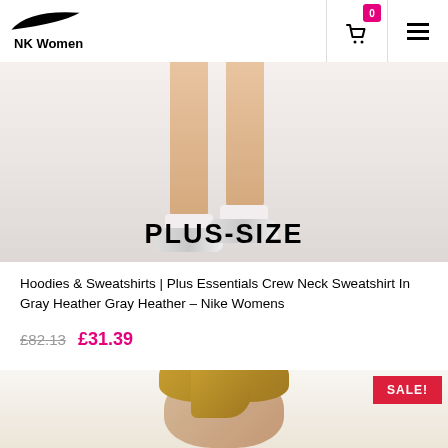[Figure (logo): Nike swoosh logo with brand name 'NK Women']
[Figure (photo): Plus-size women's product hero image showing legs and sneakers with PLUS-SIZE text overlay]
Hoodies & Sweatshirts | Plus Essentials Crew Neck Sweatshirt In Gray Heather Gray Heather – Nike Womens
£82.13 £31.39
[Figure (photo): Second product image of a blonde woman model with SALE! badge]